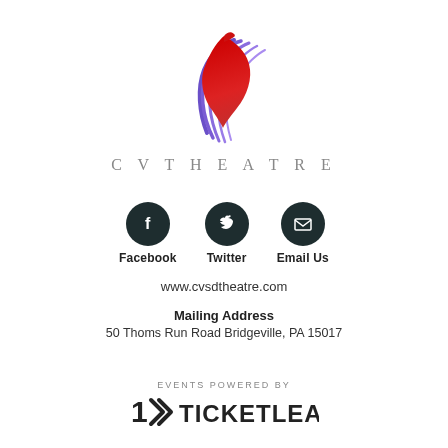[Figure (logo): CVTheatre horse head logo with red and purple swoosh lines, above the text CVTHEATRE]
CVTHEATRE
[Figure (infographic): Three dark circular social media icons: Facebook (f icon), Twitter (bird icon), Email Us (envelope icon), each with label below]
www.cvsdtheatre.com
Mailing Address
50 Thoms Run Road Bridgeville, PA 15017
EVENTS POWERED BY
[Figure (logo): TicketLeap logo with double arrow symbol followed by bold text TICKETLEAP]